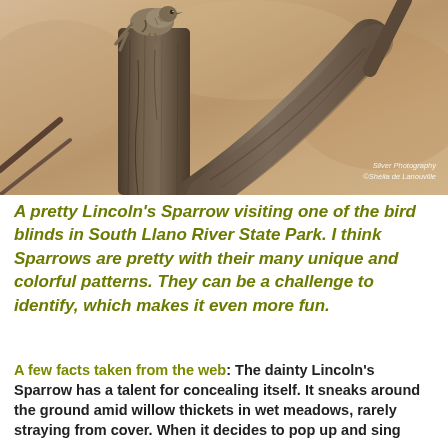[Figure (photo): A Lincoln's Sparrow bird perched on a weathered wooden post with a diagonal branch, set against a blurred warm brown natural background. Watermark reads 'Silver Photography / ©Sheila de Lanouville' in bottom right corner.]
A pretty Lincoln's Sparrow visiting one of the bird blinds in South Llano River State Park. I think Sparrows are pretty with their many unique and colorful patterns. They can be a challenge to identify, which makes it even more fun.
A few facts taken from the web: The dainty Lincoln's Sparrow has a talent for concealing itself. It sneaks around the ground amid willow thickets in wet meadows, rarely straying from cover. When it decides to pop up and sing